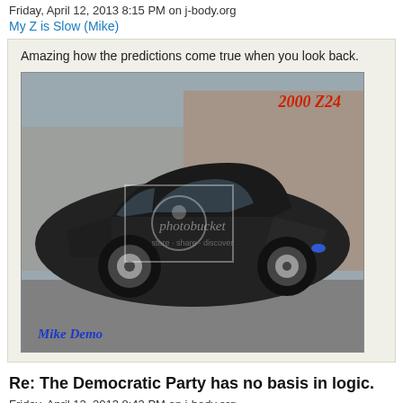Friday, April 12, 2013 8:15 PM on j-body.org
My Z is Slow (Mike)
Amazing how the predictions come true when you look back.
[Figure (photo): A black Chevrolet Cavalier Z24 parked in front of a building. The image has a Photobucket watermark overlay. Text '2000 Z24' appears in red in the upper right, and 'Mike Demo' appears in blue italic in the lower left.]
Re: The Democratic Party has no basis in logic.
Friday, April 12, 2013 8:42 PM on j-body.org
Tinkles(KGM)